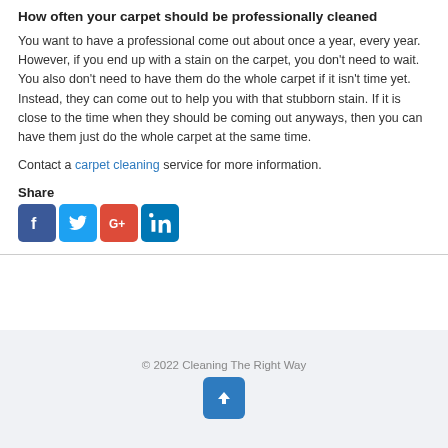How often your carpet should be professionally cleaned
You want to have a professional come out about once a year, every year. However, if you end up with a stain on the carpet, you don't need to wait. You also don't need to have them do the whole carpet if it isn't time yet. Instead, they can come out to help you with that stubborn stain. If it is close to the time when they should be coming out anyways, then you can have them just do the whole carpet at the same time.
Contact a carpet cleaning service for more information.
Share
[Figure (other): Social media share icons: Facebook, Twitter, Google+, LinkedIn]
© 2022 Cleaning The Right Way